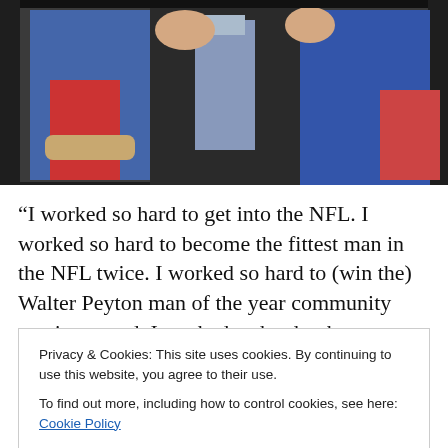[Figure (photo): Photo of people at what appears to be an NFL event, with individuals in blue jerseys holding a trophy]
“I worked so hard to get into the NFL. I worked so hard to become the fittest man in the NFL twice. I worked so hard to (win the) Walter Peyton man of the year community service award. I worked so hard to become a Superbowl
Privacy & Cookies: This site uses cookies. By continuing to use this website, you agree to their use.
To find out more, including how to control cookies, see here: Cookie Policy
Close and accept